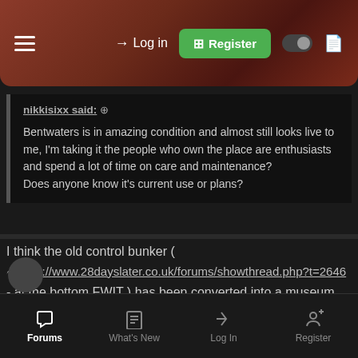Log in | Register
nikkisixx said: ↑
Bentwaters is in amazing condition and almost still looks live to me, I'm taking it the people who own the place are enthusiasts and spend a lot of time on care and maintenance?
Does anyone know it's current use or plans?
I think the old control bunker ( http://www.28dayslater.co.uk/forums/showthread.php?t=2646 - at the bottom FWIT ) has been converted into a museum. The rest of the site like you say is in very good condition, but that's because it's been leased out to various businesses so maintenance happens.
Forums | What's New | Log In | Register